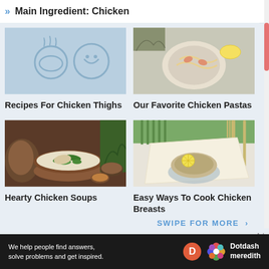Main Ingredient: Chicken
[Figure (photo): Light blue background with illustrated food icons including a bowl and steam]
Recipes For Chicken Thighs
[Figure (photo): Chicken pasta dish with shrimp and lemon on a plate]
Our Favorite Chicken Pastas
[Figure (photo): Bowl of creamy chicken soup with herbs, bread and spices on wooden board]
Hearty Chicken Soups
[Figure (photo): Chicken breast in parchment paper with lemon and asparagus on a plate with fork and knife]
Easy Ways To Cook Chicken Breasts
SWIPE FOR MORE >
Ad
We help people find answers, solve problems and get inspired.
Dotdash meredith